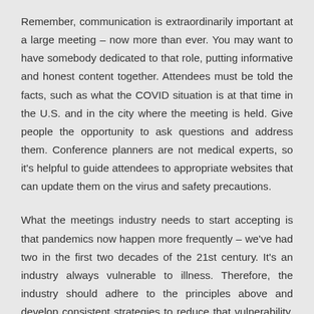Remember, communication is extraordinarily important at a large meeting – now more than ever. You may want to have somebody dedicated to that role, putting informative and honest content together. Attendees must be told the facts, such as what the COVID situation is at that time in the U.S. and in the city where the meeting is held. Give people the opportunity to ask questions and address them. Conference planners are not medical experts, so it's helpful to guide attendees to appropriate websites that can update them on the virus and safety precautions.
What the meetings industry needs to start accepting is that pandemics now happen more frequently – we've had two in the first two decades of the 21st century. It's an industry always vulnerable to illness. Therefore, the industry should adhere to the principles above and develop consistent strategies to reduce that vulnerability, and in future pandemics we won't have such a decimation as we've seen with the industry in the past few months. It will take an industry-wide effort of getting